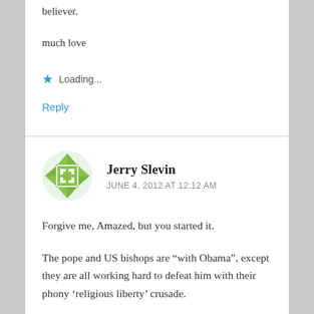believer.
much love
Loading...
Reply
Jerry Slevin
JUNE 4, 2012 AT 12:12 AM
Forgive me, Amazed, but you started it.
The pope and US bishops are “with Obama”, except they are all working hard to defeat him with their phony ‘religious liberty’ crusade.